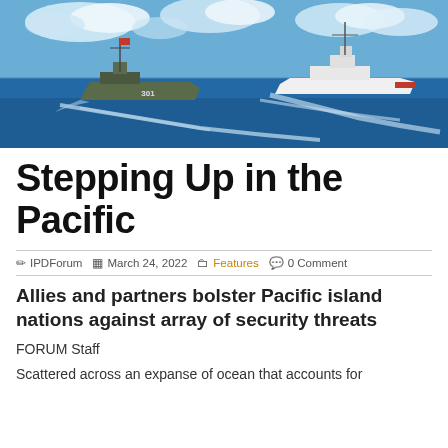[Figure (photo): Two naval vessels at sea — a smaller patrol boat (numbered 301) in the foreground and a larger white coast guard cutter in the background, both traveling across blue ocean water with white wake trails and blue sky with clouds above.]
Stepping Up in the Pacific
IPDForum  March 24, 2022  Features  0 Comment
Allies and partners bolster Pacific island nations against array of security threats
FORUM Staff
Scattered across an expanse of ocean that accounts for